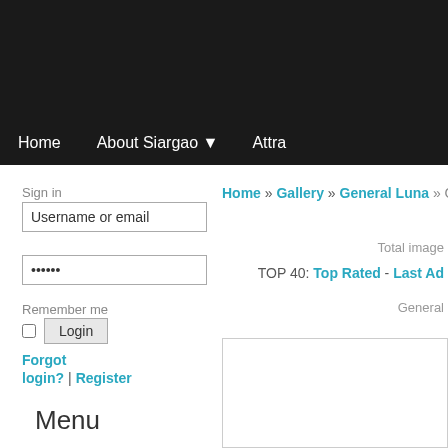[Figure (screenshot): Dark navigation header bar with website logo area and navigation links: Home, About Siargao (with dropdown arrow), Attra...]
Home   About Siargao ▼   Attra
Sign in
Username or email
••••••
Remember me
Login
Forgot login? | Register
Home » Gallery » General Luna » Gene
Total image
TOP 40: Top Rated - Last Ad
General
Menu